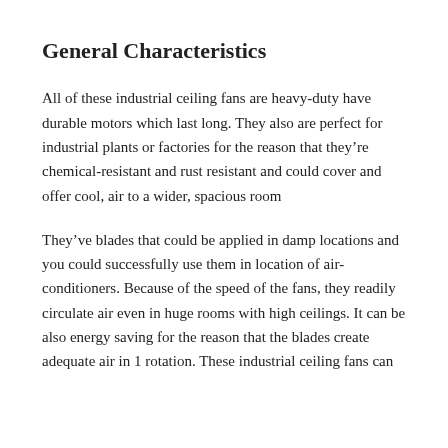General Characteristics
All of these industrial ceiling fans are heavy-duty have durable motors which last long. They also are perfect for industrial plants or factories for the reason that they're chemical-resistant and rust resistant and could cover and offer cool, air to a wider, spacious room
They've blades that could be applied in damp locations and you could successfully use them in location of air-conditioners. Because of the speed of the fans, they readily circulate air even in huge rooms with high ceilings. It can be also energy saving for the reason that the blades create adequate air in 1 rotation. These industrial ceiling fans can